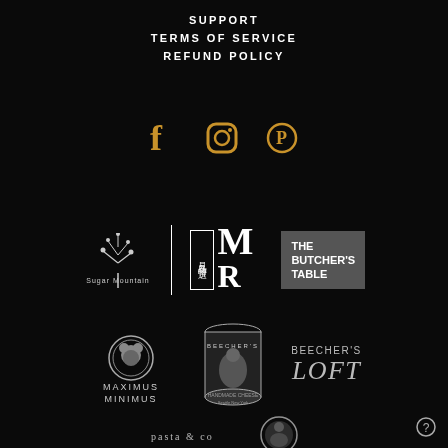SUPPORT
TERMS OF SERVICE
REFUND POLICY
[Figure (logo): Three social media icons: Facebook, Instagram, Pinterest in gold/amber color]
[Figure (logo): Sugar Mountain logo with tree illustration and text]
[Figure (logo): MR logo with Chinese characters in a box]
[Figure (logo): The Butcher's Table logo on grey background]
[Figure (logo): Maximus Minimus logo with circle icon]
[Figure (logo): Beecher's Handmade Cheese branded label/can]
[Figure (logo): Beecher's Loft logo in italic text]
[Figure (logo): pasta & co logo (partially visible)]
[Figure (logo): Circular logo (partially visible)]